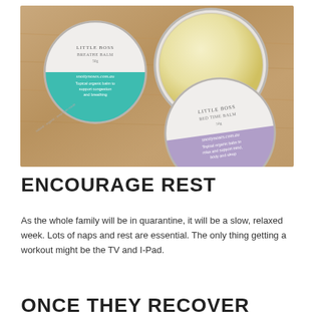[Figure (photo): Two round tins of Little Boss balm products on a wooden surface. Left tin is Breathe Balm (50g) with teal/turquoise lower half, showing snottynoses.com.au and text 'Topical organic balm to support congestion and breathing', natural organic australian made. Right tin shown open revealing yellow balm inside, and its lid below showing Little Boss Bedtime Balm (50g) with purple lower half, snottynoses.com.au, 'Topical organic balm to relax and support mind, body and sleep', organic australian made.]
ENCOURAGE REST
As the whole family will be in quarantine, it will be a slow, relaxed week. Lots of naps and rest are essential. The only thing getting a workout might be the TV and I-Pad.
ONCE THEY RECOVER FROM